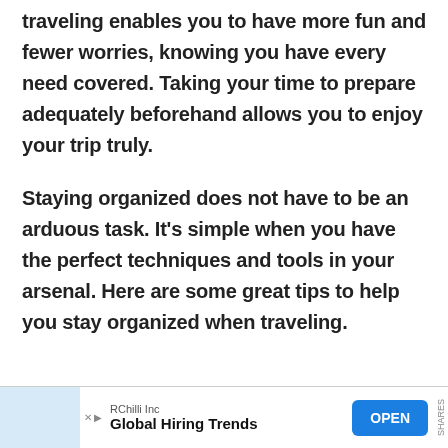traveling enables you to have more fun and fewer worries, knowing you have every need covered. Taking your time to prepare adequately beforehand allows you to enjoy your trip truly.
Staying organized does not have to be an arduous task. It's simple when you have the perfect techniques and tools in your arsenal. Here are some great tips to help you stay organized when traveling.
[Figure (other): Advertisement banner: RChilli Inc - Global Hiring Trends, with OPEN button]